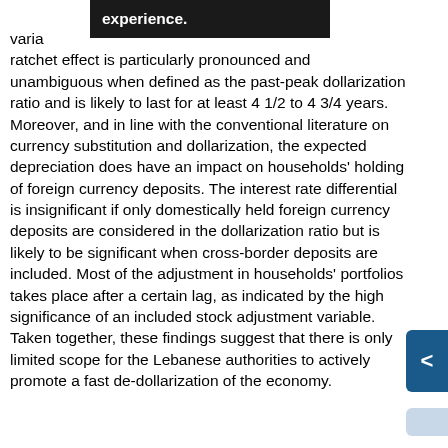ratchet effect is particularly pronounced and unambiguous when defined as the past-peak dollarization ratio and is likely to last for at least 4 1/2 to 4 3/4 years. Moreover, and in line with the conventional literature on currency substitution and dollarization, the expected depreciation does have an impact on households' holding of foreign currency deposits. The interest rate differential is insignificant if only domestically held foreign currency deposits are considered in the dollarization ratio but is likely to be significant when cross-border deposits are included. Most of the adjustment in households' portfolios takes place after a certain lag, as indicated by the high significance of an included stock adjustment variable. Taken together, these findings suggest that there is only limited scope for the Lebanese authorities to actively promote a fast de-dollarization of the economy.